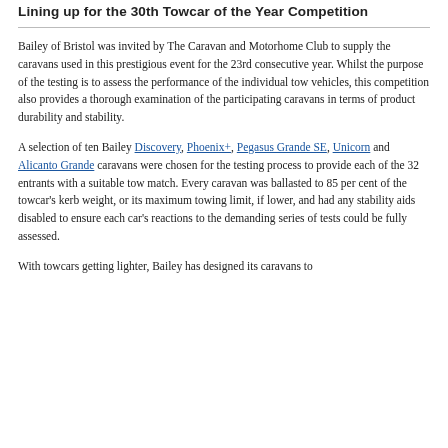Lining up for the 30th Towcar of the Year Competition
Bailey of Bristol was invited by The Caravan and Motorhome Club to supply the caravans used in this prestigious event for the 23rd consecutive year. Whilst the purpose of the testing is to assess the performance of the individual tow vehicles, this competition also provides a thorough examination of the participating caravans in terms of product durability and stability.
A selection of ten Bailey Discovery, Phoenix+, Pegasus Grande SE, Unicorn and Alicanto Grande caravans were chosen for the testing process to provide each of the 32 entrants with a suitable tow match. Every caravan was ballasted to 85 per cent of the towcar's kerb weight, or its maximum towing limit, if lower, and had any stability aids disabled to ensure each car's reactions to the demanding series of tests could be fully assessed.
With towcars getting lighter, Bailey has designed its caravans to